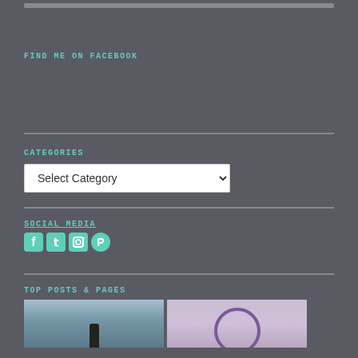FIND ME ON FACEBOOK
CATEGORIES
SOCIAL MEDIA
TOP POSTS & PAGES
[Figure (screenshot): Two post thumbnail images side by side at bottom of page]